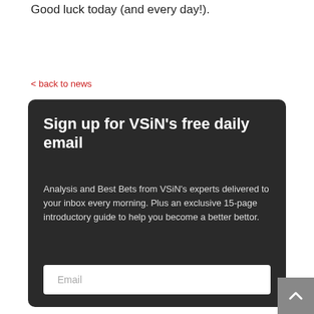Good luck today (and every day!).
< back to news
Sign up for VSiN's free daily email
Analysis and Best Bets from VSiN's experts delivered to your inbox every morning. Plus an exclusive 15-page introductory guide to help you become a better bettor.
Email